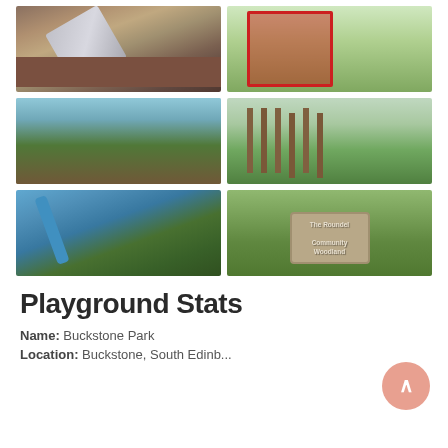[Figure (photo): Playground slide with red rubber surface, metal slide structure]
[Figure (photo): Red and blue climbing frame structure in park with green grass]
[Figure (photo): Colorful playground equipment with red rubber surface and trees in background]
[Figure (photo): Wooden posts in green grass area of park]
[Figure (photo): Blue swing or slide structure with trees in background]
[Figure (photo): Wooden sign reading 'The Roundel Community Woodland' surrounded by green vegetation]
Playground Stats
Name: Buckstone Park
Location: Buckstone, South Edinburgh...